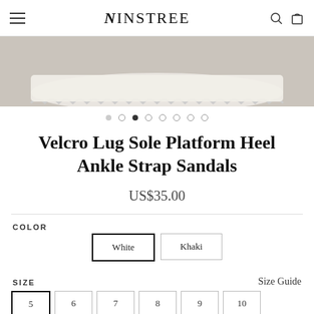NINSTREE
[Figure (photo): Close-up of white lug sole platform sandal on grey concrete surface]
Velcro Lug Sole Platform Heel Ankle Strap Sandals
US$35.00
COLOR
White  Khaki
SIZE
Size Guide
5  6  7  8  9  10